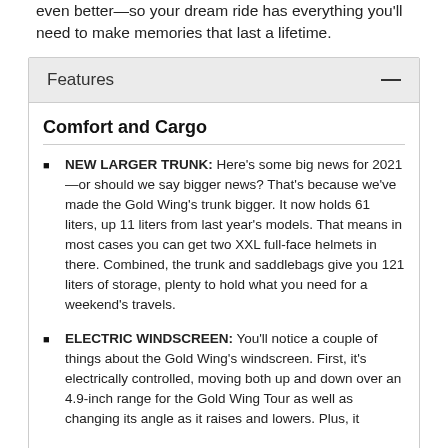even better—so your dream ride has everything you'll need to make memories that last a lifetime.
Features
Comfort and Cargo
NEW LARGER TRUNK: Here's some big news for 2021—or should we say bigger news? That's because we've made the Gold Wing's trunk bigger. It now holds 61 liters, up 11 liters from last year's models. That means in most cases you can get two XXL full-face helmets in there. Combined, the trunk and saddlebags give you 121 liters of storage, plenty to hold what you need for a weekend's travels.
ELECTRIC WINDSCREEN: You'll notice a couple of things about the Gold Wing's windscreen. First, it's electrically controlled, moving both up and down over an 4.9-inch range for the Gold Wing Tour as well as changing its angle as it raises and lowers. Plus, it